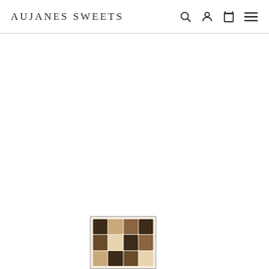AUJANES SWEETS
[Figure (photo): Small thumbnail image showing an assortment of chocolate/candy products arranged in a grid, displayed at the bottom-left area of the page. The image appears to be a product photo thumbnail with a bordered frame.]